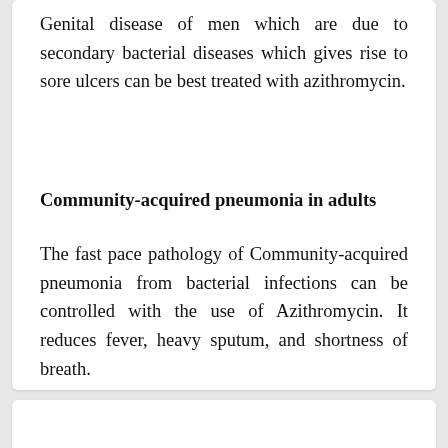Genital disease of men which are due to secondary bacterial diseases which gives rise to sore ulcers can be best treated with azithromycin.
Community-acquired pneumonia in adults
The fast pace pathology of Community-acquired pneumonia from bacterial infections can be controlled with the use of Azithromycin. It reduces fever, heavy sputum, and shortness of breath.
AZIVOIZ 250MG TABLET INDICATION
Oral: For treating mild to moderate bacte…